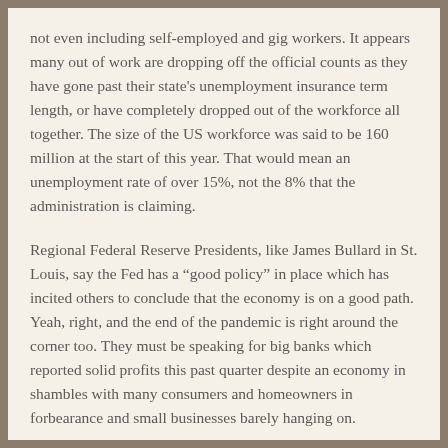not even including self-employed and gig workers. It appears many out of work are dropping off the official counts as they have gone past their state's unemployment insurance term length, or have completely dropped out of the workforce all together. The size of the US workforce was said to be 160 million at the start of this year. That would mean an unemployment rate of over 15%, not the 8% that the administration is claiming.
Regional Federal Reserve Presidents, like James Bullard in St. Louis, say the Fed has a “good policy” in place which has incited others to conclude that the economy is on a good path. Yeah, right, and the end of the pandemic is right around the corner too. They must be speaking for big banks which reported solid profits this past quarter despite an economy in shambles with many consumers and homeowners in forbearance and small businesses barely hanging on.